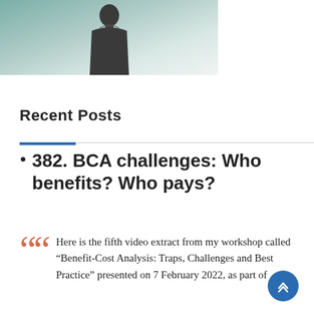[Figure (photo): Photo of a person in a dark hoodie standing outdoors with a blurred background of water and sky.]
Recent Posts
382. BCA challenges: Who benefits? Who pays?
Here is the fifth video extract from my workshop called “Benefit-Cost Analysis: Traps, Challenges and Best Practice” presented on 7 February 2022, as part of